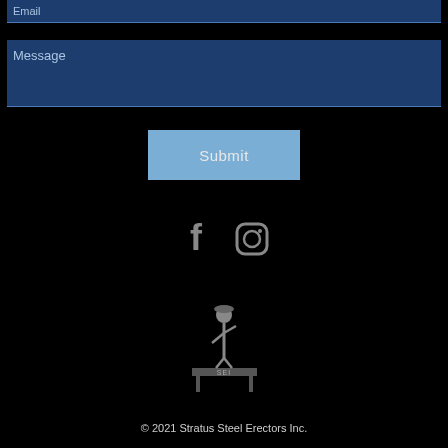Email
Message
Submit
[Figure (illustration): Facebook and Instagram social media icons in gray on black background]
[Figure (logo): Stratus Steel Erectors Inc. logo: silhouette of ironworker standing on steel beam with SEI lettering]
© 2021 Stratus Steel Erectors Inc.